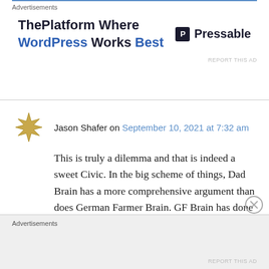Advertisements
[Figure (other): Advertisement banner: ThePlatform Where WordPress Works Best — Pressable logo]
Jason Shafer on September 10, 2021 at 7:32 am
This is truly a dilemma and that is indeed a sweet Civic. In the big scheme of things, Dad Brain has a more comprehensive argument than does German Farmer Brain. GF Brain has done a terrific job of being unemotional in his decision making, but he also needs to realize that Mother Brain is lurking nearby – and she can certainly sway the jury in matters of debate.
Advertisements